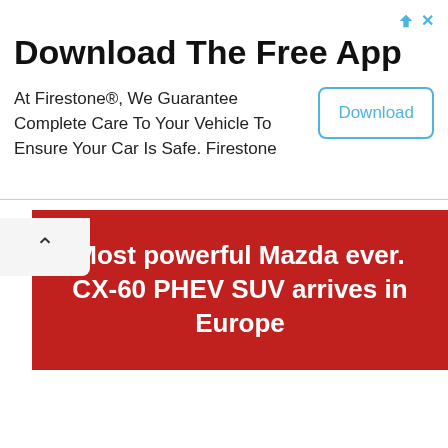Download The Free App
At Firestone®, We Guarantee Complete Care To Your Vehicle To Ensure Your Car Is Safe. Firestone
Download
Most powerful Mazda ever. CX-60 PHEV SUV arrives in Europe